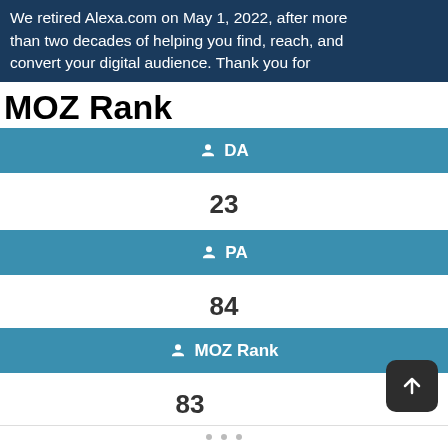We retired Alexa.com on May 1, 2022, after more than two decades of helping you find, reach, and convert your digital audience. Thank you for
MOZ Rank
DA
23
PA
84
MOZ Rank
83